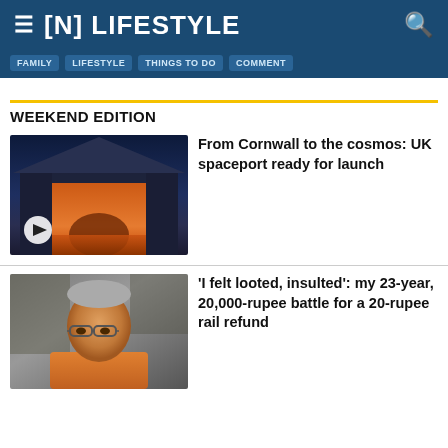[N] LIFESTYLE
FAMILY
LIFESTYLE
THINGS TO DO
COMMENT
WEEKEND EDITION
[Figure (photo): A large hangar or spaceport building at night with dramatic orange/red lighting inside, a triangular roof silhouette against a dark blue sky. A play button icon is visible in the lower left.]
From Cornwall to the cosmos: UK spaceport ready for launch
[Figure (photo): A man wearing glasses and an orange shirt, photographed indoors.]
'I felt looted, insulted': my 23-year, 20,000-rupee battle for a 20-rupee rail refund